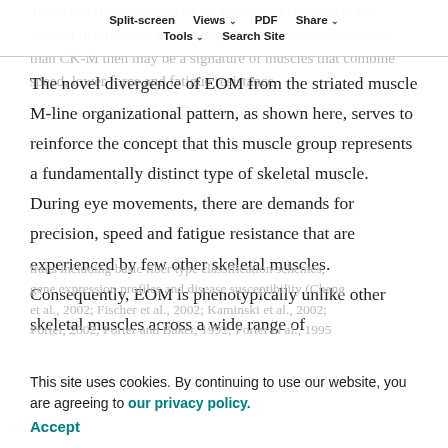Split-screen  Views  PDF  Share  Tools  Search Site
glycolytic fibers is replaced by speed with endurance. We suggest that reliance upon energy transfer mechanisms other than CK-M then may be a signature of muscles that combine speed, lower force and fatigue resistance.
The novel divergence of EOM from the striated muscle M-line organizational pattern, as shown here, serves to reinforce the concept that this muscle group represents a fundamentally distinct type of skeletal muscle. During eye movements, there are demands for precision, speed and fatigue resistance that are experienced by few other skeletal muscles. Consequently, EOM is phenotypically unlike other skeletal muscles across a wide range of traits including basic fiber type classification schemes, gene expression profiles and disease susceptibility (Cheng et al., 2002; Fischer et al., 2002; Kaminski et al., 2002; Porter, 2002; Porter and Baker, 1992; Porter et al., 1995
This site uses cookies. By continuing to use our website, you are agreeing to our privacy policy. Accept